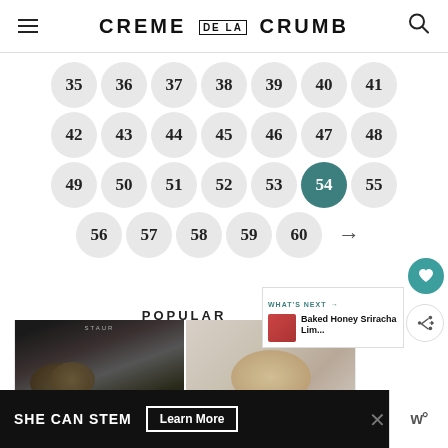CREME DE LA CRUMB
35 36 37 38 39 40 41
42 43 44 45 46 47 48
49 50 51 52 53 54 55
56 57 58 59 60 →
POPULAR
[Figure (photo): Two food photos side by side in popular section: left shows roasted potatoes/chicken in a Staub cast iron pan, right shows a cheesy baked dish in a round pan]
WHAT'S NEXT → Baked Honey Sriracha Lim...
SHE CAN STEM   Learn More